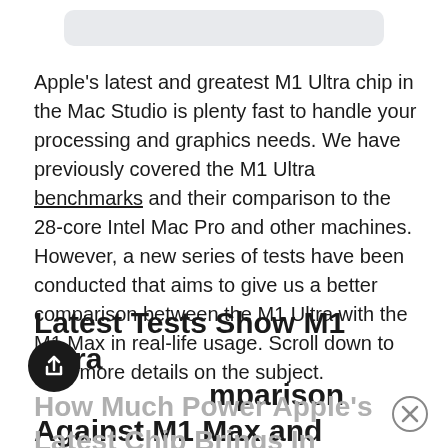[Figure (other): Gray rounded rectangle search/address bar at top]
Apple's latest and greatest M1 Ultra chip in the Mac Studio is plenty fast to handle your processing and graphics needs. We have previously covered the M1 Ultra benchmarks and their comparison to the 28-core Intel Mac Pro and other machines. However, a new series of tests have been conducted that aims to give us a better comparison between the M1 Ultra with the M1 Max in real-life usage. Scroll down to read more details on the subject.
Latest Tests Show M1 Ultra Comparison Against M1 Max and
How Much Power Apple's Latest Chip Brings In Real-Life